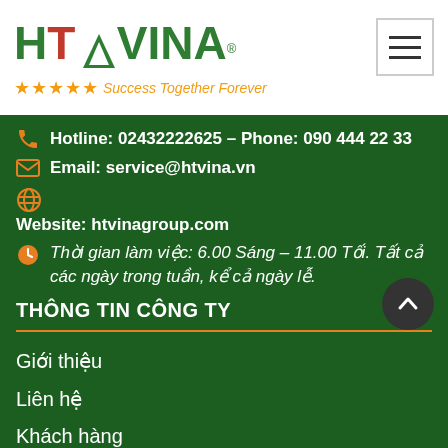[Figure (logo): HT VINA logo with red T and green letters, triangle shape, registered trademark symbol]
★★★★★ Success Together Forever
[Figure (other): Hamburger menu button (three horizontal lines) in a bordered box]
Hotline: 02432222625 – Phone: 090 444 22 33
Email: service@htvina.vn
Website: htvinagroup.com
Thời gian làm việc: 6.00 Sáng – 11.00 Tối. Tất cả các ngày trong tuần, kể cả ngày lễ.
THÔNG TIN CÔNG TY
Giới thiệu
Liên hệ
Khách hàng
Tin tức